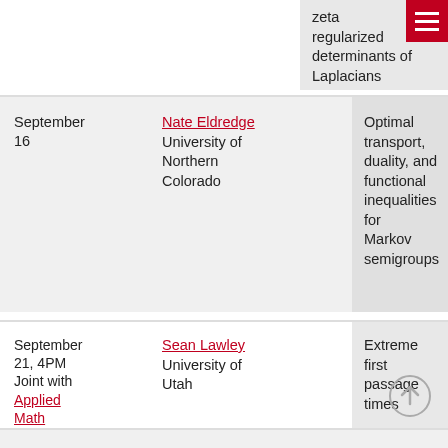zeta regularized determinants of Laplacians
September 16
Nate Eldredge
University of Northern Colorado
Optimal transport, duality, and functional inequalities for Markov semigroups
September 21, 4PM
Joint with Applied Math Seminar
Sean Lawley
University of Utah
Extreme first passage times